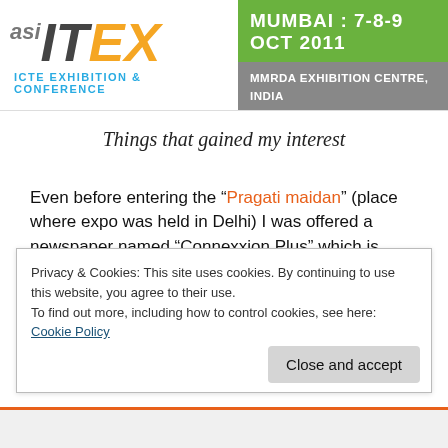[Figure (logo): Asia ITEX logo with yellow/gold EX letters and blue subtitle 'ICTE EXHIBITION & CONFERENCE', alongside green banner 'MUMBAI : 7-8-9 OCT 2011' and gray banner 'MMRDA EXHIBITION CENTRE, INDIA']
Things that gained my interest
Even before entering the “Pragati maidan” (place where expo was held in Delhi) I was offered a newspaper named “Connexxion Plus” which is published every fortnight. It contained many advertisements from the top companies like Dell, HTC, Toshiba, Intel and was basically featuring latest technical news. Although it costs Rs.15 in the market
Privacy & Cookies: This site uses cookies. By continuing to use this website, you agree to their use.
To find out more, including how to control cookies, see here: Cookie Policy
Close and accept